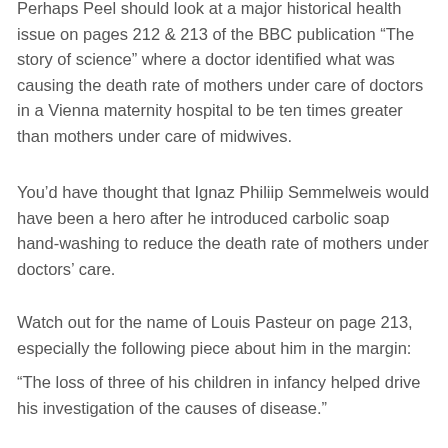Perhaps Peel should look at a major historical health issue on pages 212 & 213 of the BBC publication “The story of science” where a doctor identified what was causing the death rate of mothers under care of doctors in a Vienna maternity hospital to be ten times greater than mothers under care of midwives.
You’d have thought that Ignaz Philiip Semmelweis would have been a hero after he introduced carbolic soap hand-washing to reduce the death rate of mothers under doctors’ care.
Watch out for the name of Louis Pasteur on page 213, especially the following piece about him in the margin:
“The loss of three of his children in infancy helped drive his investigation of the causes of disease.”
The picture showing “our future?” going up in smoke is exactly what’s been happening for too long in the UK and unless and until a significant number of people are aware of